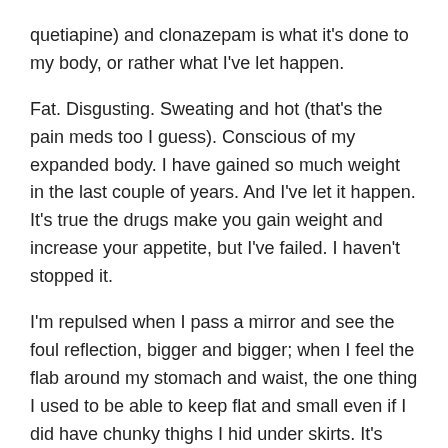quetiapine) and clonazepam is what it's done to my body, or rather what I've let happen.
Fat. Disgusting. Sweating and hot (that's the pain meds too I guess). Conscious of my expanded body. I have gained so much weight in the last couple of years. And I've let it happen. It's true the drugs make you gain weight and increase your appetite, but I've failed. I haven't stopped it.
I'm repulsed when I pass a mirror and see the foul reflection, bigger and bigger; when I feel the flab around my stomach and waist, the one thing I used to be able to keep flat and small even if I did have chunky thighs I hid under skirts. It's everywhere. Crawling disgusting flesh and fat.
Why did I let it? Why? Why did I return to this